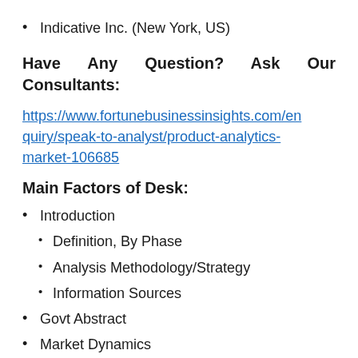Indicative Inc. (New York, US)
Have Any Question? Ask Our Consultants:
https://www.fortunebusinessinsights.com/enquiry/speak-to-analyst/product-analytics-market-106685
Main Factors of Desk:
Introduction
Definition, By Phase
Analysis Methodology/Strategy
Information Sources
Govt Abstract
Market Dynamics